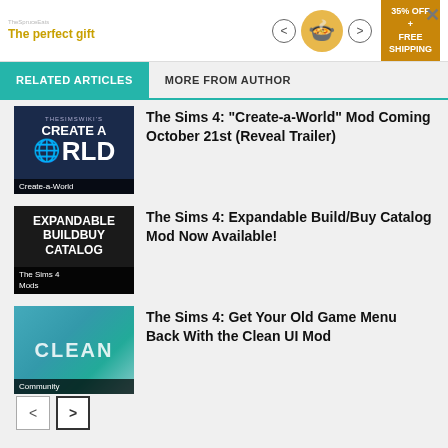[Figure (screenshot): Advertisement banner for a recipe/cooking gift product with '35% OFF + FREE SHIPPING' offer and navigation arrows]
RELATED ARTICLES | MORE FROM AUTHOR
[Figure (photo): Thumbnail for 'Create-A-World' article showing dark blue background with globe icon and text]
The Sims 4: “Create-a-World” Mod Coming October 21st (Reveal Trailer)
[Figure (photo): Thumbnail for 'Expandable BuildBuy Catalog' article with dark background and white bold text]
The Sims 4: Expandable Build/Buy Catalog Mod Now Available!
[Figure (photo): Thumbnail for 'Clean UI' article showing teal/blue gradient background with CLEAN text overlay]
The Sims 4: Get Your Old Game Menu Back With the Clean UI Mod